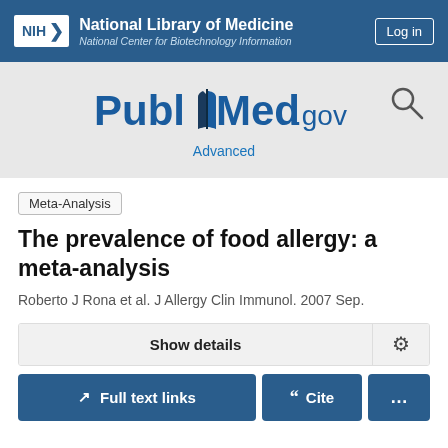NIH National Library of Medicine National Center for Biotechnology Information
[Figure (logo): PubMed.gov logo with search icon and Advanced link]
Meta-Analysis
The prevalence of food allergy: a meta-analysis
Roberto J Rona et al. J Allergy Clin Immunol. 2007 Sep.
Show details
Full text links  Cite  ...